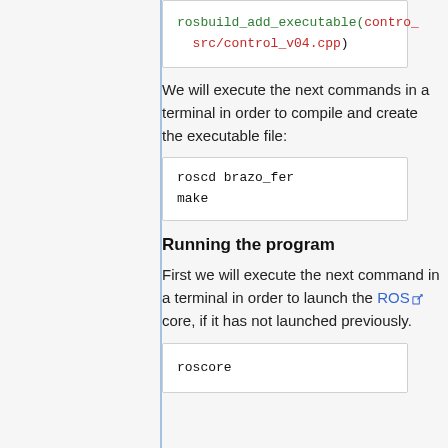rosbuild_add_executable(contro…
  src/control_v04.cpp)
We will execute the next commands in a terminal in order to compile and create the executable file:
roscd brazo_fer
make
Running the program
First we will execute the next command in a terminal in order to launch the ROS core, if it has not launched previously.
roscore